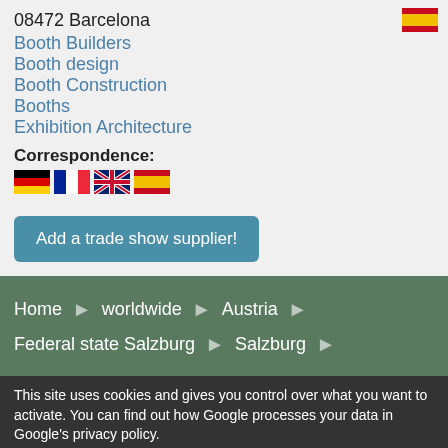08472 Barcelona
[Figure (illustration): Spanish flag icon in top right]
Booth Builders
Booth design
Booth Construction
Booths
Exhibition Architecture
Correspondence:
[Figure (illustration): Row of four country flags: Germany, France, UK, Spain]
Add a trade show supplier!
Home > worldwide > Austria > Federal state Salzburg > Salzburg
This site uses cookies and gives you control over what you want to activate. You can find out how Google processes your data in Google's privacy policy.
✓ OK, accept all
✗ Deny all cookies
Personalize
Privacy policy